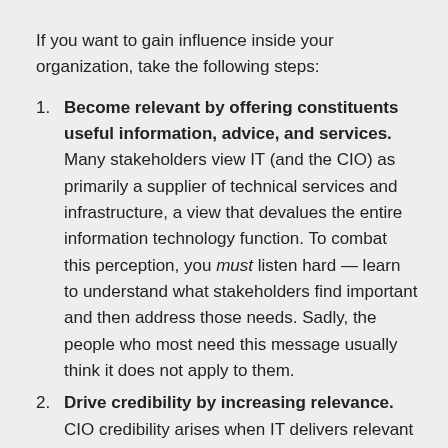If you want to gain influence inside your organization, take the following steps:
Become relevant by offering constituents useful information, advice, and services. Many stakeholders view IT (and the CIO) as primarily a supplier of technical services and infrastructure, a view that devalues the entire information technology function. To combat this perception, you must listen hard — learn to understand what stakeholders find important and then address those needs. Sadly, the people who most need this message usually think it does not apply to them.
Drive credibility by increasing relevance. CIO credibility arises when IT delivers relevant activities and projects in reliably and consistently.